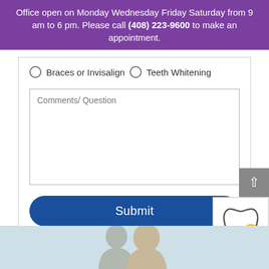Office open on Monday Wednesday Friday Saturday from 9 am to 6 pm. Please call (408) 223-9600 to make an appointment.
Braces or Invisalign   Teeth Whitening
Comments/ Question
Submit
[Figure (photo): Photo of people (partially visible at bottom of page)]